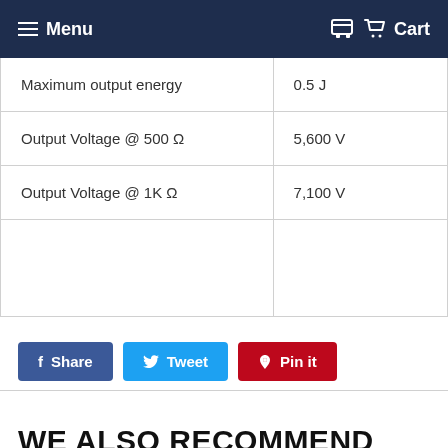Menu   Cart
| Maximum output energy | 0.5 J |
| Output Voltage @ 500 Ω | 5,600 V |
| Output Voltage @ 1K Ω | 7,100 V |
|  |  |
Share   Tweet   Pin it
WE ALSO RECOMMEND